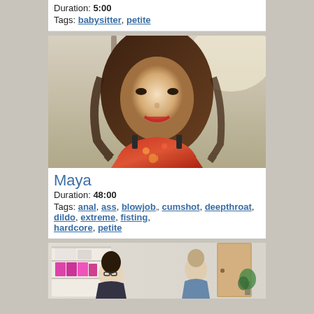Duration: 5:00
Tags: babysitter, petite
[Figure (photo): Close-up portrait photo of a young woman with long brown wavy hair, wearing a red floral top, smiling at the camera with a nose piercing.]
Maya
Duration: 48:00
Tags: anal, ass, blowjob, cumshot, deepthroat, dildo, extreme, fisting, hardcore, petite
[Figure (photo): Scene showing two people in a room: a woman with dark hair wearing glasses seated on the left near a white bookshelf with pink binders, and a man standing on the right.]